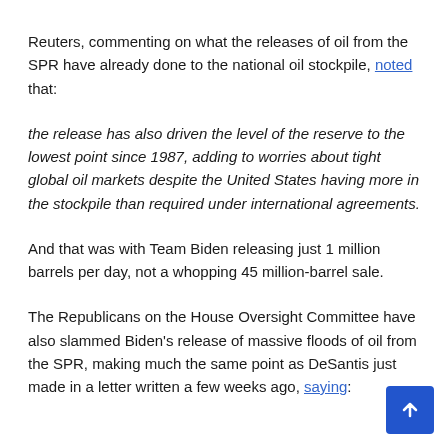Reuters, commenting on what the releases of oil from the SPR have already done to the national oil stockpile, noted that:
the release has also driven the level of the reserve to the lowest point since 1987, adding to worries about tight global oil markets despite the United States having more in the stockpile than required under international agreements.
And that was with Team Biden releasing just 1 million barrels per day, not a whopping 45 million-barrel sale.
The Republicans on the House Oversight Committee have also slammed Biden's release of massive floods of oil from the SPR, making much the same point as DeSantis just made in a letter written a few weeks ago, saying: